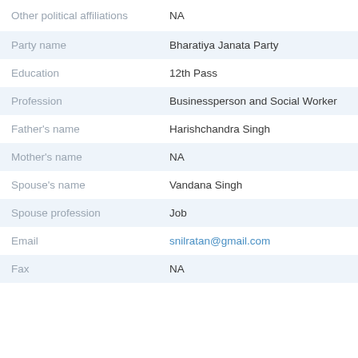| Field | Value |
| --- | --- |
| Other political affiliations | NA |
| Party name | Bharatiya Janata Party |
| Education | 12th Pass |
| Profession | Businessperson and Social Worker |
| Father's name | Harishchandra Singh |
| Mother's name | NA |
| Spouse's name | Vandana Singh |
| Spouse profession | Job |
| Email | snilratan@gmail.com |
| Fax | NA |